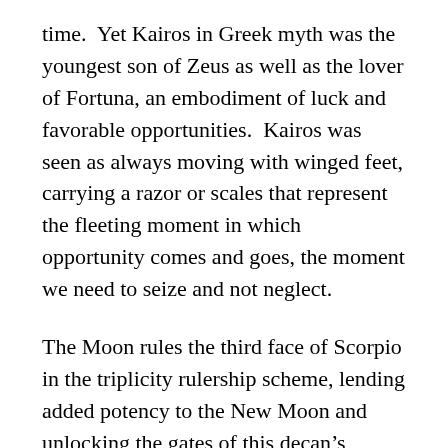time.  Yet Kairos in Greek myth was the youngest son of Zeus as well as the lover of Fortuna, an embodiment of luck and favorable opportunities.  Kairos was seen as always moving with winged feet, carrying a razor or scales that represent the fleeting moment in which opportunity comes and goes, the moment we need to seize and not neglect.
The Moon rules the third face of Scorpio in the triplicity rulership scheme, lending added potency to the New Moon and unlocking the gates of this decan's meaning.  The square from Mars to Pluto brings the fires of urgency to the moment so that we will be ready to take action when the opportune moment arises.